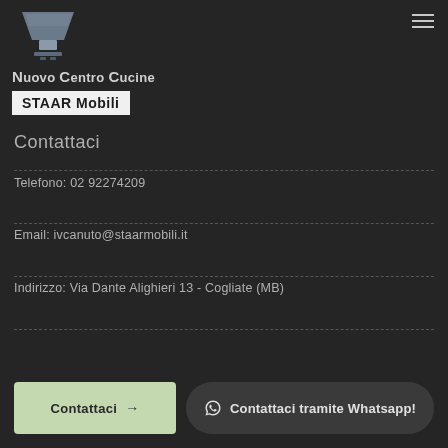[Figure (logo): Nuovo Centro Cucine logo with kitchen hood icon above text, and STAAR Mobili badge below]
Contattaci
Telefono: 02 92274209
Email: ivcanuto@staarmobili.it
Indirizzo: Via Dante Alighieri 13 - Cogliate (MB)
Contattaci →
Contattaci tramite Whatsapp!